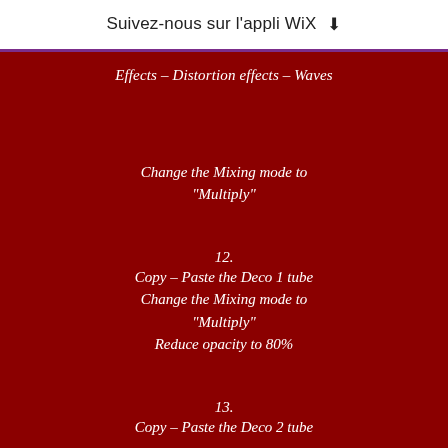Suivez-nous sur l'appli WiX ⬇
Effects – Distortion effects – Waves
Change the Mixing mode to "Multiply"
12.
Copy – Paste the Deco 1 tube
Change the Mixing mode to "Multiply"
Reduce opacity to 80%
13.
Copy – Paste the Deco 2 tube